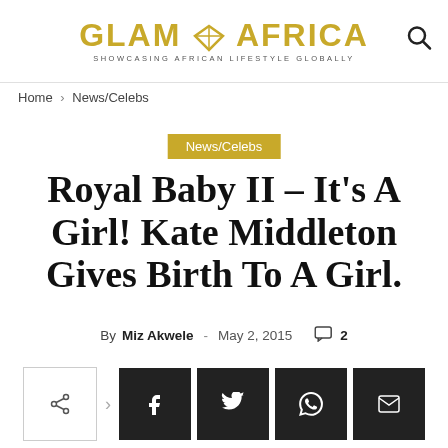GLAM AFRICA — SHOWCASING AFRICAN LIFESTYLE GLOBALLY
Home › News/Celebs
News/Celebs
Royal Baby II – It's A Girl! Kate Middleton Gives Birth To A Girl.
By Miz Akwele - May 2, 2015  💬 2
[Figure (other): Share buttons row: share outline, arrow, Facebook, Twitter, WhatsApp, Email]